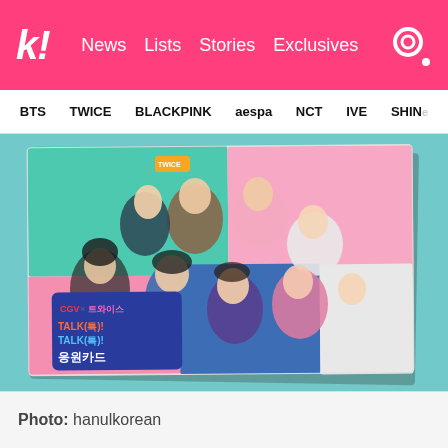k! News  Lists  Stories  Exclusives
BTS  TWICE  BLACKPINK  aespa  NCT  IVE  SHINee
[Figure (photo): A K-pop group photo card showing 9 female members lying in a circle on a colorful background (teal, pink, blue). The card features CGV x TWICE branding with Korean text 'TALK(톡)! TALK(톡)! 응원카드'. The photo card rests on a teal/mint fabric surface.]
Photo: hanulkorean